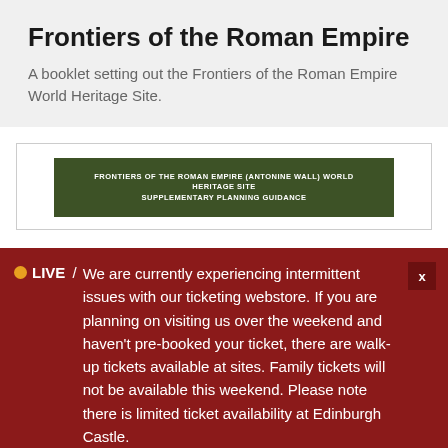Frontiers of the Roman Empire
A booklet setting out the Frontiers of the Roman Empire World Heritage Site.
[Figure (other): Dark olive green banner reading: FRONTIERS OF THE ROMAN EMPIRE (ANTONINE WALL) WORLD HERITAGE SITE SUPPLEMENTARY PLANNING GUIDANCE]
C…
We are currently experiencing intermittent issues with our ticketing webstore. If you are planning on visiting us over the weekend and haven't pre-booked your ticket, there are walk-up tickets available at sites. Family tickets will not be available this weekend. Please note there is limited ticket availability at Edinburgh Castle.